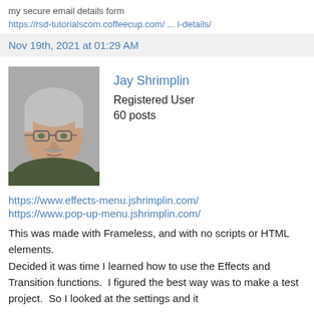my secure email details form
https://rsd-tutorialscom.coffeecup.com/ ... l-details/
Nov 19th, 2021 at 01:29 AM
[Figure (photo): Profile photo of Jay Shrimplin, a middle-aged man with gray hair and glasses]
Jay Shrimplin
Registered User
60 posts
https://www.effects-menu.jshrimplin.com/
https://www.pop-up-menu.jshrimplin.com/
This was made with Frameless, and with no scripts or HTML elements.
Decided it was time I learned how to use the Effects and Transition functions.  I figured the best way was to make a test project.  So I looked at the settings and it